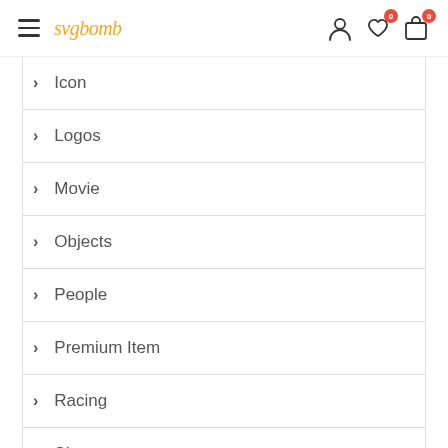svgbomb — navigation header with hamburger menu, logo, user icon, wishlist (0), cart (0)
> Icon
> Logos
> Movie
> Objects
> People
> Premium Item
> Racing
> Shapes
> Badges